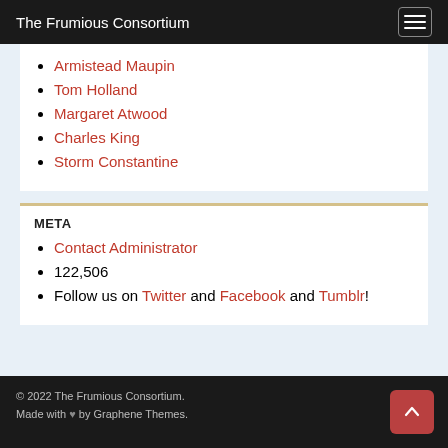The Frumious Consortium
Armistead Maupin
Tom Holland
Margaret Atwood
Charles King
Storm Constantine
META
Contact Administrator
122,506
Follow us on Twitter and Facebook and Tumblr!
© 2022 The Frumious Consortium. Made with ♥ by Graphene Themes.